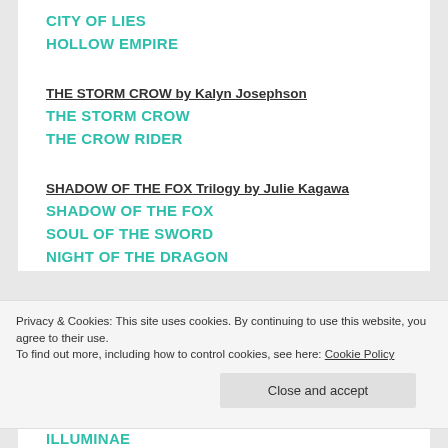CITY OF LIES
HOLLOW EMPIRE
THE STORM CROW by Kalyn Josephson
THE STORM CROW
THE CROW RIDER
SHADOW OF THE FOX Trilogy by Julie Kagawa
SHADOW OF THE FOX
SOUL OF THE SWORD
NIGHT OF THE DRAGON
Privacy & Cookies: This site uses cookies. By continuing to use this website, you agree to their use.
To find out more, including how to control cookies, see here: Cookie Policy
Close and accept
ILLUMINAE